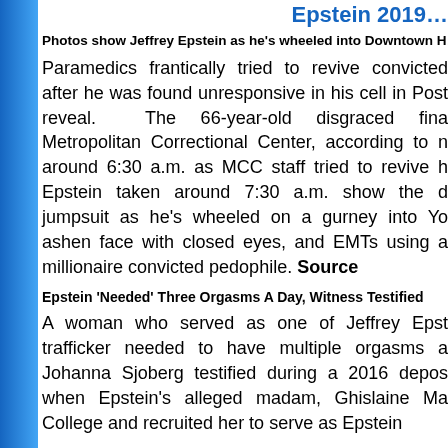Epstein 2019…
Photos show Jeffrey Epstein as he's wheeled into Downtown H…
Paramedics frantically tried to revive convicted… after he was found unresponsive in his cell in… Post reveal. The 66-year-old disgraced fina… Metropolitan Correctional Center, according to r… around 6:30 a.m. as MCC staff tried to revive h… Epstein taken around 7:30 a.m. show the d… jumpsuit as he's wheeled on a gurney into Yo… ashen face with closed eyes, and EMTs using a… millionaire convicted pedophile. Source
Epstein 'Needed' Three Orgasms A Day, Witness Testified
A woman who served as one of Jeffrey Epst… trafficker needed to have multiple orgasms a… Johanna Sjoberg testified during a 2016 depos… when Epstein's alleged madam, Ghislaine Ma… College and recruited her to serve as Epstein…